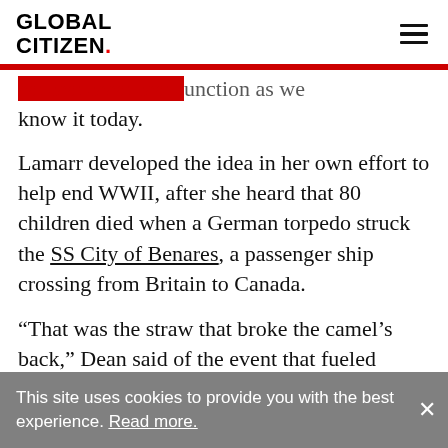GLOBAL CITIZEN.
unction as we know it today.
Lamarr developed the idea in her own effort to help end WWII, after she heard that 80 children died when a German torpedo struck the SS City of Benares, a passenger ship crossing from Britain to Canada.
“That was the straw that broke the camel’s back,” Dean said of the event that fueled Lamarr’s invention. “[After that] she took it into her own hands and did something.”
“She was...
This site uses cookies to provide you with the best experience. Read more.